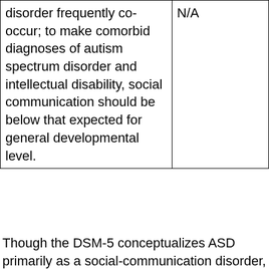| disorder frequently co-occur; to make comorbid diagnoses of autism spectrum disorder and intellectual disability, social communication should be below that expected for general developmental level. | N/A |
Though the DSM-5 conceptualizes ASD primarily as a social-communication disorder, there is a growing literature supporting the hypothesis that ASD is primarily characterized by differences in information processing.23 See, for example, the intense world theory of ASD.
Adults on the autism spectrum may display autistic traits differently from children. Most people, regardless of whether or not they are on the autism spectrum, mature and behave differently as they get older. As such, adults on the spectrum may not fit society's images of autistic children. In addition